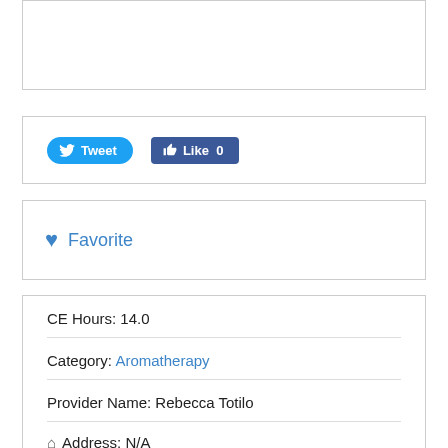[Figure (other): Empty white box with gray border at top of page]
[Figure (other): Social sharing box with Tweet button (blue rounded) and Like 0 button (dark blue rectangle)]
[Figure (other): Favorite box with blue heart icon and Favorite text in blue]
CE Hours: 14.0
Category: Aromatherapy
Provider Name: Rebecca Totilo
Address: N/A